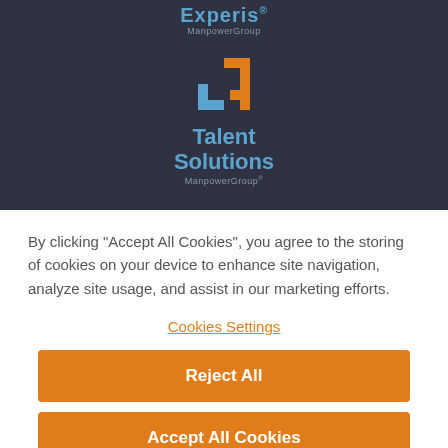[Figure (logo): Experis ManpowerGroup logo in blue text on dark background]
[Figure (logo): Talent Solutions ManpowerGroup logo with orange and blue arrow icon on dark background]
By clicking “Accept All Cookies”, you agree to the storing of cookies on your device to enhance site navigation, analyze site usage, and assist in our marketing efforts.
Cookies Settings
Reject All
Accept All Cookies